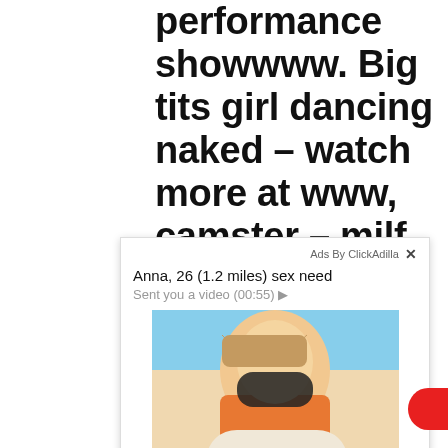performance showwww. Big tits girl dancing naked - watch more at www, camster - milf with big tits wears lingerie and teases fans on webcambia titted
[Figure (screenshot): Ad overlay with ClickAdilla branding showing: 'Anna, 26 (1.2 miles) sex need', 'Sent you a video (00:55) ▶', and a photo of a woman in an orange shirt wearing a mask, sitting in a car.]